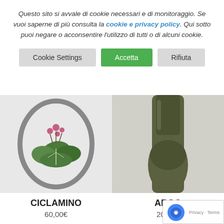Questo sito si avvale di cookie necessari e di monitoraggio. Se vuoi saperne di più consulta la cookie e privacy policy. Qui sotto puoi negare o acconsentire l'utilizzo di tutti o di alcuni cookie.
Cookie Settings | Accetta | Rifiuta
[Figure (photo): Product photo of CICLAMINO - an oval decorative item with a plant/cyclamen illustration]
[Figure (photo): Product photo of ARGO - a dark green glass bottle/vase]
CICLAMINO
60,00€
ARGO
20,00€
Aggiungi al carrello
Aggiungi al carrello